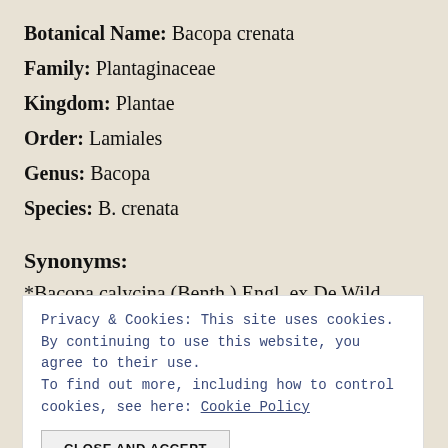Botanical Name: Bacopa crenata
Family: Plantaginaceae
Kingdom: Plantae
Order: Lamiales
Genus: Bacopa
Species: B. crenata
Synonyms:
*Bacopa calycina (Benth.) Engl. ex De Wild.
*Erinus africanus Pers.
*Herpestis calycina Benth.
Privacy & Cookies: This site uses cookies. By continuing to use this website, you agree to their use. To find out more, including how to control cookies, see here: Cookie Policy
CLOSE AND ACCEPT
Habitat: Bacopa crenata is a marsh plant native to India,